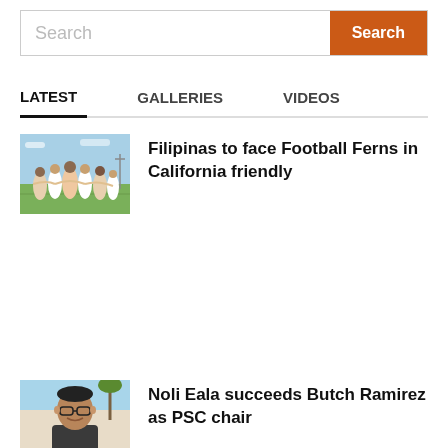Search
LATEST | GALLERIES | VIDEOS
[Figure (photo): Football team players huddled together on a field, viewed from behind]
Filipinas to face Football Ferns in California friendly
[Figure (photo): Portrait of a man with glasses outdoors]
Noli Eala succeeds Butch Ramirez as PSC chair